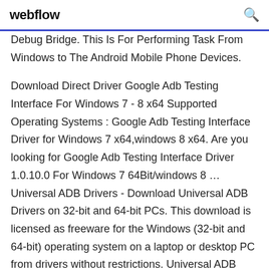webflow
Debug Bridge. This Is For Performing Task From Windows to The Android Mobile Phone Devices.
Download Direct Driver Google Adb Testing Interface For Windows 7 - 8 x64 Supported Operating Systems : Google Adb Testing Interface Driver for Windows 7 x64,windows 8 x64. Are you looking for Google Adb Testing Interface Driver 1.0.10.0 For Windows 7 64Bit/windows 8 ... Universal ADB Drivers - Download Universal ADB Drivers on 32-bit and 64-bit PCs. This download is licensed as freeware for the Windows (32-bit and 64-bit) operating system on a laptop or desktop PC from drivers without restrictions. Universal ADB